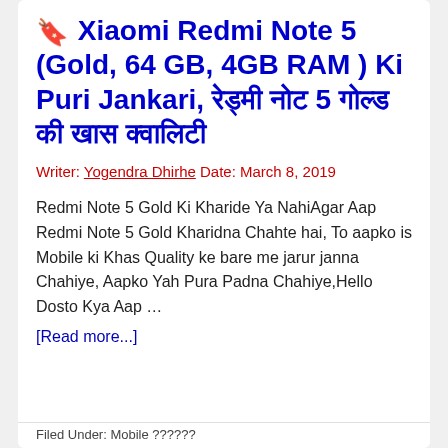🔖 Xiaomi Redmi Note 5 (Gold, 64 GB, 4GB RAM ) Ki Puri Jankari, रेड्मी नोट 5 गोल्ड की खास क्वालिटी
Writer: Yogendra Dhirhe Date: March 8, 2019
Redmi Note 5 Gold Ki Kharide Ya NahiAgar Aap Redmi Note 5 Gold Kharidna Chahte hai, To aapko is Mobile ki Khas Quality ke bare me jarur janna Chahiye, Aapko Yah Pura Padna Chahiye,Hello Dosto Kya Aap …
[Read more...]
Filed Under: Mobile ??????